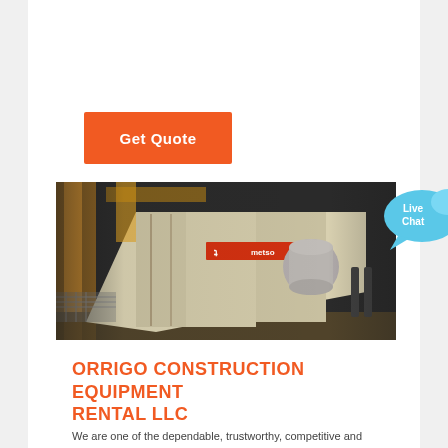Get Quote
[Figure (photo): Industrial vibrating screen / screening machine (Metso brand) inside a factory or warehouse. The machine is cream/off-white colored with red branding, large cylindrical motor, and heavy structural steel frame. Background shows industrial building interior.]
[Figure (illustration): Live Chat speech bubble icon — light blue speech bubble with text 'Live Chat' inside, with a smaller bubble overlapping.]
ORRIGO CONSTRUCTION EQUIPMENT RENTAL LLC
We are one of the dependable, trustworthy, competitive and